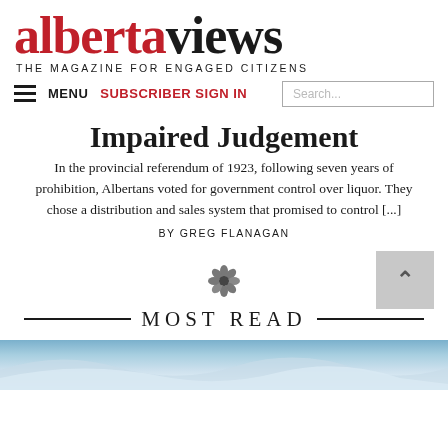albertaviews THE MAGAZINE FOR ENGAGED CITIZENS
Impaired Judgement
In the provincial referendum of 1923, following seven years of prohibition, Albertans voted for government control over liquor. They chose a distribution and sales system that promised to control [...]
BY GREG FLANAGAN
[Figure (illustration): Small decorative flower/botanical icon]
MOST READ